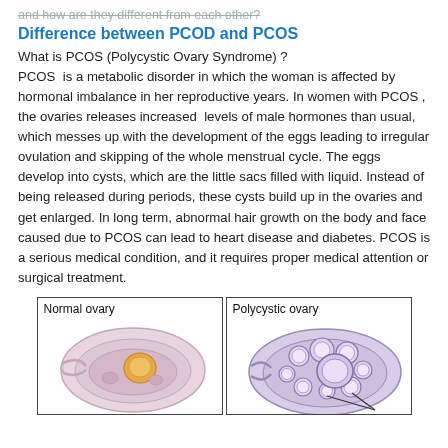and how are they different from each other?
Difference between PCOD and PCOS
What is PCOS (Polycystic Ovary Syndrome) ?
PCOS is a metabolic disorder in which the woman is affected by hormonal imbalance in her reproductive years. In women with PCOS , the ovaries releases increased levels of male hormones than usual, which messes up with the development of the eggs leading to irregular ovulation and skipping of the whole menstrual cycle. The eggs develop into cysts, which are the little sacs filled with liquid. Instead of being released during periods, these cysts build up in the ovaries and get enlarged. In long term, abnormal hair growth on the body and face caused due to PCOS can lead to heart disease and diabetes. PCOS is a serious medical condition, and it requires proper medical attention or surgical treatment.
[Figure (illustration): Side-by-side medical illustration showing a Normal ovary (left panel) and a Polycystic ovary (right panel). The normal ovary shows smooth tissue with a single follicle. The polycystic ovary shows multiple cysts visible inside the ovarian tissue.]